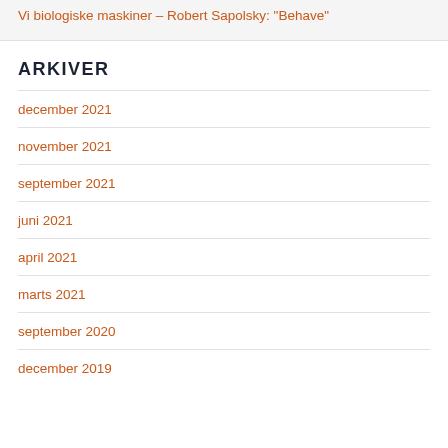Vi biologiske maskiner – Robert Sapolsky: "Behave"
ARKIVER
december 2021
november 2021
september 2021
juni 2021
april 2021
marts 2021
september 2020
december 2019